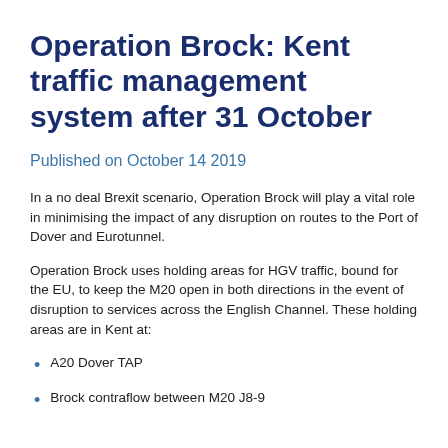Operation Brock: Kent traffic management system after 31 October
Published on October 14 2019
In a no deal Brexit scenario, Operation Brock will play a vital role in minimising the impact of any disruption on routes to the Port of Dover and Eurotunnel.
Operation Brock uses holding areas for HGV traffic, bound for the EU, to keep the M20 open in both directions in the event of disruption to services across the English Channel. These holding areas are in Kent at:
A20 Dover TAP
Brock contraflow between M20 J8-9